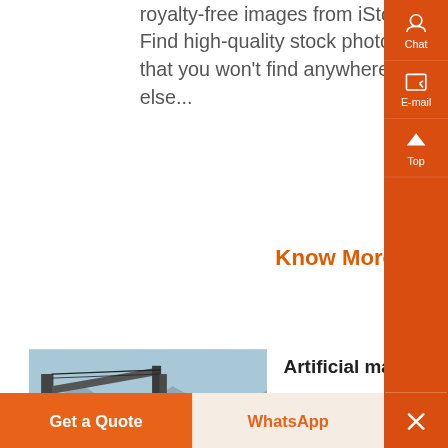royalty-free images from iStock. Find high-quality stock photos that you won't find anywhere else...
Know More
[Figure (photo): Industrial machinery or conveyor system in a desert landscape with mountains in the background]
Artificial marble | Etsy
Check out our artificial marble selection for the very best in unique or custom, handmade pieces from our shops...
Know More
Get a Quote
WhatsApp
Chat
E-mail
Top